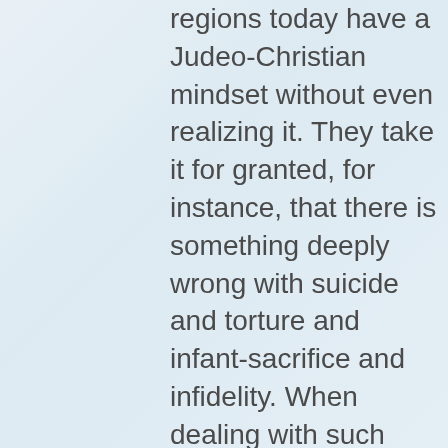regions today have a Judeo-Christian mindset without even realizing it. They take it for granted, for instance, that there is something deeply wrong with suicide and torture and infant-sacrifice and infidelity. When dealing with such